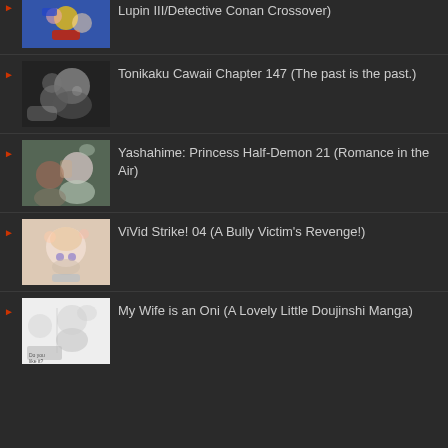Lupin III/Detective Conan Crossover)
Tonikaku Cawaii Chapter 147 (The past is the past.)
Yashahime: Princess Half-Demon 21 (Romance in the Air)
ViVid Strike! 04 (A Bully Victim's Revenge!)
My Wife is an Oni (A Lovely Little Doujinshi Manga)